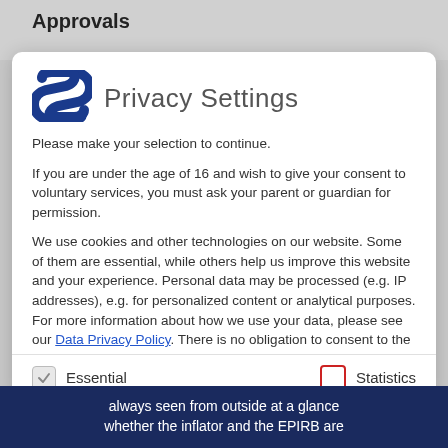Approvals
[Figure (logo): Secumar brand logo — stylized blue S with 'SECUMAR' text below]
Privacy Settings
Please make your selection to continue.
If you are under the age of 16 and wish to give your consent to voluntary services, you must ask your parent or guardian for permission.
We use cookies and other technologies on our website. Some of them are essential, while others help us improve this website and your experience. Personal data may be processed (e.g. IP addresses), e.g. for personalized content or analytical purposes. For more information about how we use your data, please see our Data Privacy Policy. There is no obligation to consent to the processing of your data in
Essential
Statistics
always seen from outside at a glance whether the inflator and the EPIRB are